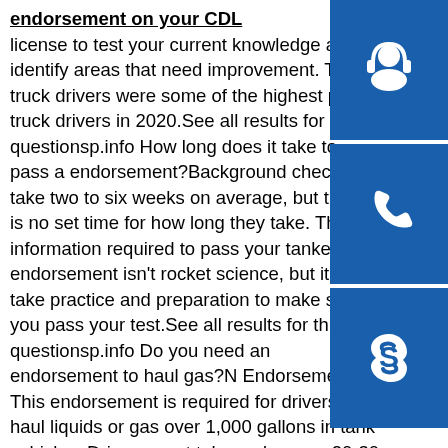endorsement on your CDL license to test your current knowledge and identify areas that need improvement. Tanker truck drivers were some of the highest paid truck drivers in 2020.See all results for this questionsp.info How long does it take to pass a endorsement?Background checks take two to six weeks on average, but there is no set time for how long they take. The information required to pass your tanker endorsement isn't rocket science, but it will take practice and preparation to make sure you pass your test.See all results for this questionsp.info Do you need an endorsement to haul gas?N Endorsement: This endorsement is required for drivers to haul liquids or gas over 1,000 gallons in tank vehicles. Drivers must take and pass a 20-30 question test to receive this endorsement.See all results for this questionsp.info Regulations Section | Federal Motor Carrier Safety ...Question 5: Do drivers of ready-mix concrete mixers need a tank vehicle endorsement ("N") on their CDL? Guidance: No. Question 6: Do you need to take a
[Figure (illustration): Three blue icon boxes stacked vertically on the right side: 1) Customer support/headset icon (white on blue), 2) Phone/call icon (white on blue), 3) Skype/chat icon (white on blue)]